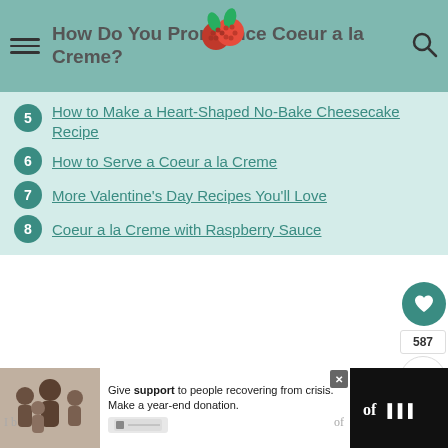How Do You Pronounce Coeur a la Creme?
5 How to Make a Heart-Shaped No-Bake Cheesecake Recipe
6 How to Serve a Coeur a la Creme
7 More Valentine's Day Recipes You'll Love
8 Coeur a la Creme with Raspberry Sauce
Coeur a la Creme with Raspberry Sauce
WHAT'S NEXT → Chocolate Coeur a la...
[Figure (photo): Thumbnail of Chocolate Coeur a la Creme dish]
[Figure (photo): Advertisement banner: family image and 'Give support to people recovering from crisis. Make a year-end donation.' with a close button and icons]
Give support to people recovering from crisis. Make a year-end donation.